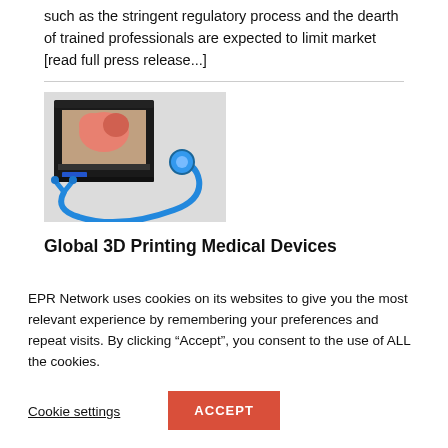such as the stringent regulatory process and the dearth of trained professionals are expected to limit market [read full press release...]
[Figure (photo): A 3D printer printing a pink heart model with a blue stethoscope in the foreground, on a white surface.]
Global 3D Printing Medical Devices
EPR Network uses cookies on its websites to give you the most relevant experience by remembering your preferences and repeat visits. By clicking “Accept”, you consent to the use of ALL the cookies.
Cookie settings
ACCEPT